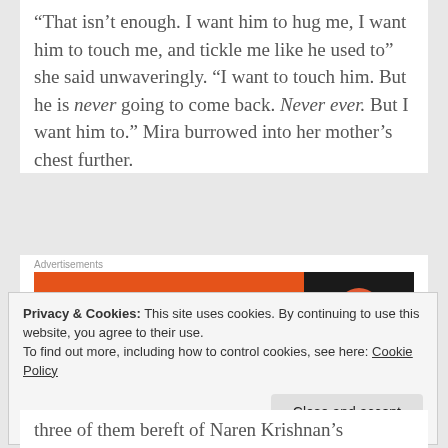“That isn’t enough. I want him to hug me, I want him to touch me, and tickle me like he used to” she said unwaveringly. “I want to touch him. But he is never going to come back. Never ever. But I want him to.” Mira burrowed into her mother’s chest further.
[Figure (other): DuckDuckGo advertisement banner: orange left panel with text 'Search, browse, and email with more privacy. All in One Free App' and dark right panel with DuckDuckGo logo and name]
Advertisements
Privacy & Cookies: This site uses cookies. By continuing to use this website, you agree to their use.
To find out more, including how to control cookies, see here: Cookie Policy
three of them bereft of Naren Krishnan’s